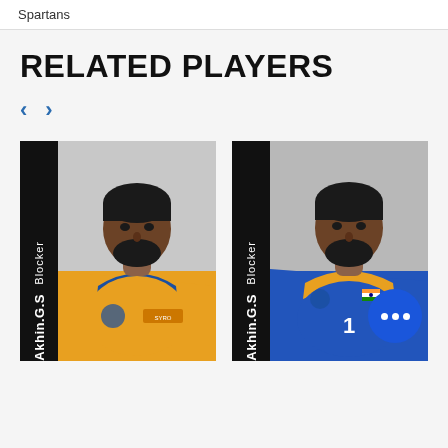Spartans
RELATED PLAYERS
[Figure (photo): Navigation arrows (left and right) for a carousel of related players]
[Figure (photo): Player card showing Akhin.G.S, position: Blocker, wearing orange and blue jersey (Spartans team)]
[Figure (photo): Player card showing Akhin.G.S, position: Blocker, wearing blue and gold Indian national team jersey with number 1]